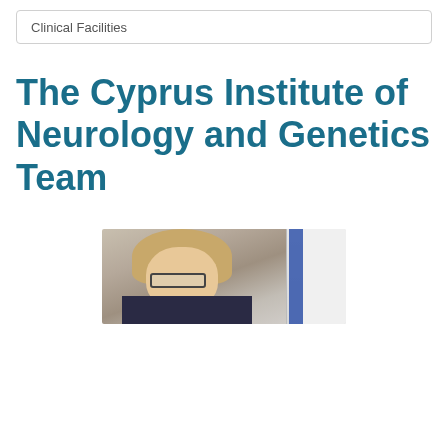Clinical Facilities
The Cyprus Institute of Neurology and Genetics Team
[Figure (photo): Partial photograph showing a blonde woman wearing glasses, with a blue flag or banner visible in the background to the right.]